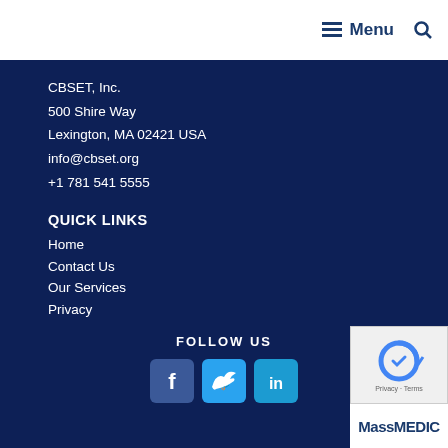Menu
CBSET, Inc.
500 Shire Way
Lexington, MA 02421 USA
info@cbset.org
+1 781 541 5555
QUICK LINKS
Home
Contact Us
Our Services
Privacy
FOLLOW US
[Figure (illustration): Social media icons: Facebook, Twitter, LinkedIn]
[Figure (logo): MassMEDIC logo]